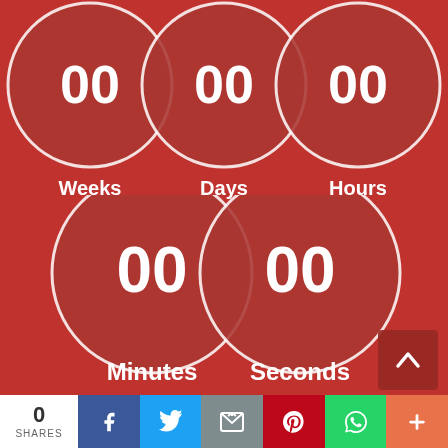[Figure (infographic): Countdown timer display showing 5 circles on red background: Weeks 00, Days 00, Hours 00, Minutes 00, Seconds 00. Circles overlap slightly with white borders. Labels in white bold text beneath each circle.]
0
SHARES
[Figure (infographic): Social share bar with Facebook, Twitter, Email, Pinterest, WhatsApp, and More (+) buttons]